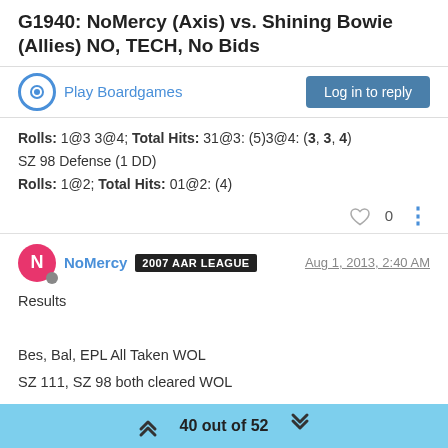G1940: NoMercy (Axis) vs. Shining Bowie (Allies) NO, TECH, No Bids
Play Boardgames | Log in to reply
Rolls: 1@3 3@4; Total Hits: 31@3: (5)3@4: (3, 3, 4)
SZ 98 Defense (1 DD)
Rolls: 1@2; Total Hits: 01@2: (4)
0
NoMercy 2007 AAR LEAGUE Aug 1, 2013, 2:40 AM
Results

Bes, Bal, EPL All Taken WOL
SZ 111, SZ 98 both cleared WOL

Non-Combats:

2 fgts from SZ 111 to SZ 109 and land on AC
40 out of 52